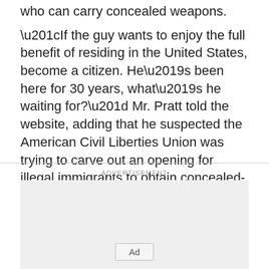who can carry concealed weapons.
“If the guy wants to enjoy the full benefit of residing in the United States, become a citizen. He’s been here for 30 years, what’s he waiting for?” Mr. Pratt told the website, adding that he suspected the American Civil Liberties Union was trying to carve out an opening for illegal immigrants to obtain concealed-weapons permits.
[Figure (other): Advertisement placeholder box with 'Ad' button label]